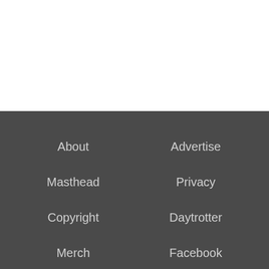About
Advertise
Masthead
Privacy
Copyright
Daytrotter
Merch
Facebook
Twitter